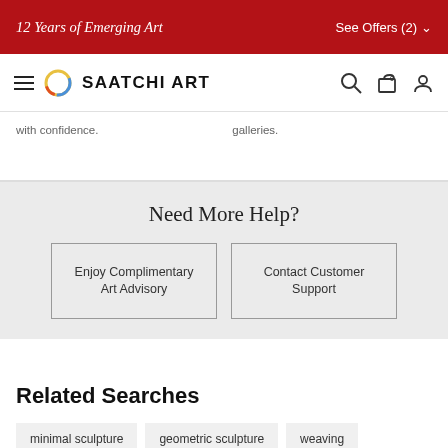12 Years of Emerging Art
See Offers (2)
SAATCHI ART
with confidence.
galleries.
Need More Help?
Enjoy Complimentary Art Advisory
Contact Customer Support
Related Searches
minimal sculpture
geometric sculpture
weaving